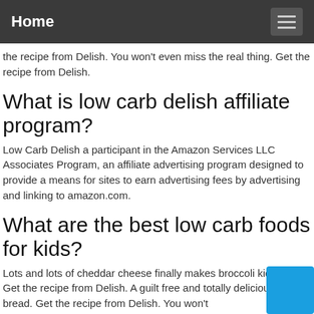Home
the recipe from Delish. You won't even miss the real thing. Get the recipe from Delish.
What is low carb delish affiliate program?
Low Carb Delish a participant in the Amazon Services LLC Associates Program, an affiliate advertising program designed to provide a means for sites to earn advertising fees by advertising and linking to amazon.com.
What are the best low carb foods for kids?
Lots and lots of cheddar cheese finally makes broccoli kid-friendly. Get the recipe from Delish. A guilt free and totally delicious savory bread. Get the recipe from Delish. You won't